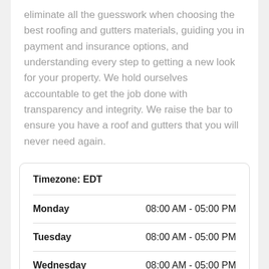eliminate all the guesswork when choosing the best roofing and gutters materials, guiding you in payment and insurance options, and understanding every step to getting a new look for your property. We hold ourselves accountable to get the job done with transparency and integrity. We raise the bar to ensure you have a roof and gutters that you will never need again.
| Day | Hours |
| --- | --- |
| Timezone: EDT |  |
| Monday | 08:00 AM - 05:00 PM |
| Tuesday | 08:00 AM - 05:00 PM |
| Wednesday | 08:00 AM - 05:00 PM |
| Thursday | 08:00 AM - 05:00 PM |